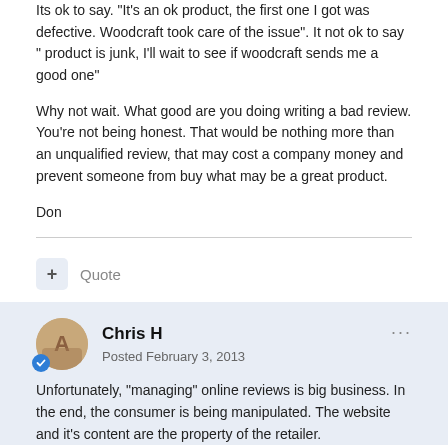Its ok to say. "It's an ok product, the first one I got was defective. Woodcraft took care of the issue". It not ok to say " product is junk, I'll wait to see if woodcraft sends me a good one"
Why not wait. What good are you doing writing a bad review. You're not being honest. That would be nothing more than an unqualified review, that may cost a company money and prevent someone from buy what may be a great product.
Don
+ Quote
Chris H
Posted February 3, 2013
Unfortunately, "managing" online reviews is big business.  In the end, the consumer is being manipulated.  The website and it's content are the property of the retailer.